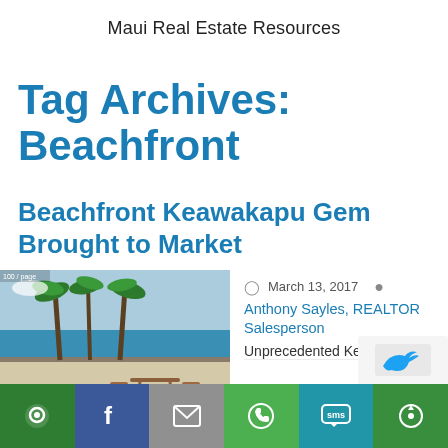Maui Real Estate Resources
Tag Archives: Beachfront
Beachfront Keawakapu Gem Brought to Market
[Figure (photo): Beachfront property photo showing palm trees, ocean, and patio furniture on a terrace]
March 13, 2017  Anthony Sayles, REALTOR Salesperson  Unprecedented Ke...
[Figure (infographic): Social share bar with buttons: share (green), Facebook (blue), email (gray), WhatsApp (green), SMS (blue), more (green)]